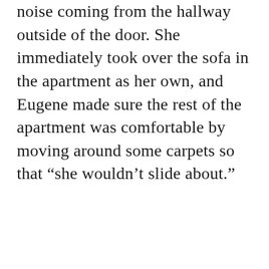noise coming from the hallway outside of the door. She immediately took over the sofa in the apartment as her own, and Eugene made sure the rest of the apartment was comfortable by moving around some carpets so that “she wouldn’t slide about.”